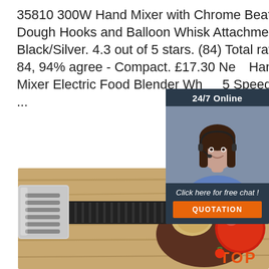35810 300W Hand Mixer with Chrome Beaters, Dough Hooks and Balloon Whisk Attachments - Black/Silver. 4.3 out of 5 stars. (84) Total ratings 84, 94% agree - Compact. £17.30 New Hand Mixer Electric Food Blender Wh 5 Speed 300w ...
[Figure (other): Chat widget with '24/7 Online' header, photo of a woman with headset, 'Click here for free chat!' text, and orange QUOTATION button]
[Figure (other): Get Price orange button]
[Figure (photo): Close-up photo of a stainless steel slotted spatula/turner on a wooden surface, with vegetables (tomato, potato) in the background and a 'TOP' logo in orange in the bottom right corner]